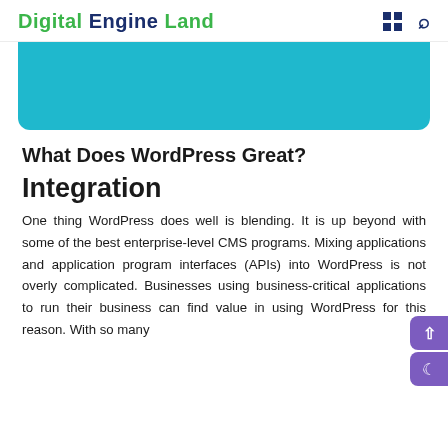Digital Engine Land
[Figure (other): Teal/cyan colored banner image block with rounded bottom corners]
What Does WordPress Great?
Integration
One thing WordPress does well is blending. It is up beyond with some of the best enterprise-level CMS programs. Mixing applications and application program interfaces (APIs) into WordPress is not overly complicated. Businesses using business-critical applications to run their business can find value in using WordPress for this reason. With so many